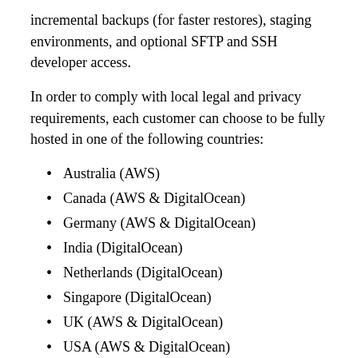incremental backups (for faster restores), staging environments, and optional SFTP and SSH developer access.
In order to comply with local legal and privacy requirements, each customer can choose to be fully hosted in one of the following countries:
Australia (AWS)
Canada (AWS & DigitalOcean)
Germany (AWS & DigitalOcean)
India (DigitalOcean)
Netherlands (DigitalOcean)
Singapore (DigitalOcean)
UK (AWS & DigitalOcean)
USA (AWS & DigitalOcean)
All customer data in the WordPress instance(s) will not leave the country in which it is hosted.